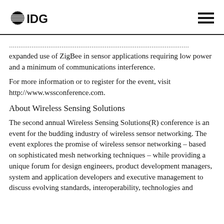IDG
...this section. This section explores the wide and expanded use of ZigBee in sensor applications requiring low power and a minimum of communications interference.
For more information or to register for the event, visit http://www.wssconference.com.
About Wireless Sensing Solutions
The second annual Wireless Sensing Solutions(R) conference is an event for the budding industry of wireless sensor networking. The event explores the promise of wireless sensor networking – based on sophisticated mesh networking techniques – while providing a unique forum for design engineers, product development managers, system and application developers and executive management to discuss evolving standards, interoperability, technologies and products to sto... For more information visit...